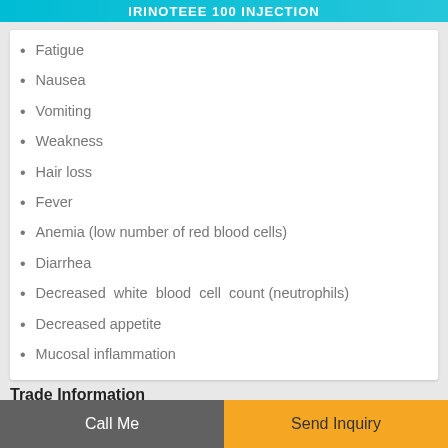IRINOTEEE 100 INJECTION
Fatigue
Nausea
Vomiting
Weakness
Hair loss
Fever
Anemia (low number of red blood cells)
Diarrhea
Decreased white blood cell count (neutrophils)
Decreased appetite
Mucosal inflammation
Trade Information
Call Me
Send Inquiry